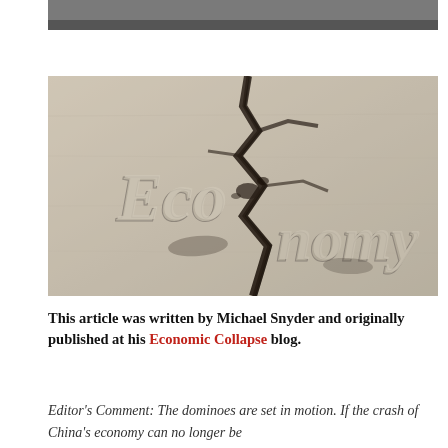[Figure (photo): Partial top crop of an image, grey/dark tones, appears to be continuation of a photo from previous page]
[Figure (photo): Sepia-toned photograph of cracked concrete or stone ground with 3D letters spelling 'Economy' broken apart by a large crack running through the surface]
This article was written by Michael Snyder and originally published at his Economic Collapse blog.
Editor's Comment: The dominoes are set in motion. If the crash of China's economy can no longer be